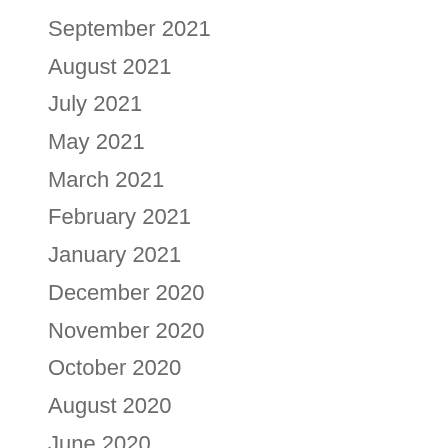September 2021
August 2021
July 2021
May 2021
March 2021
February 2021
January 2021
December 2020
November 2020
October 2020
August 2020
June 2020
April 2020
March 2020